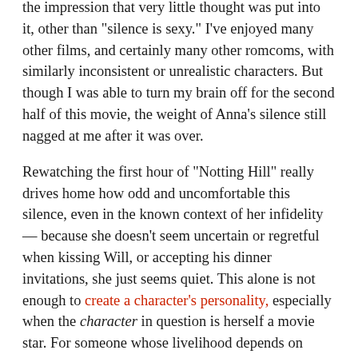the impression that very little thought was put into it, other than "silence is sexy." I've enjoyed many other films, and certainly many other romcoms, with similarly inconsistent or unrealistic characters. But though I was able to turn my brain off for the second half of this movie, the weight of Anna's silence still nagged at me after it was over.
Rewatching the first hour of "Notting Hill" really drives home how odd and uncomfortable this silence, even in the known context of her infidelity — because she doesn't seem uncertain or regretful when kissing Will, or accepting his dinner invitations, she just seems quiet. This alone is not enough to create a character's personality, especially when the character in question is herself a movie star. For someone whose livelihood depends on delivering lines, it simply doesn't make sense for Anna Scott to have so few in her own story.
Nonetheless...